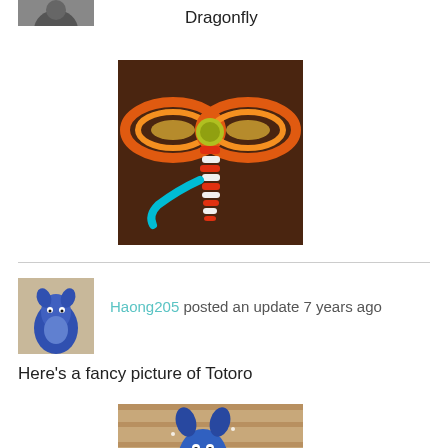[Figure (photo): Small thumbnail of a crafted figure at the top left, partially cropped]
Dragonfly
[Figure (photo): A colorful rubber band loom dragonfly figure with red, orange, yellow, teal colors on a dark brown background]
[Figure (photo): Small thumbnail avatar of a blue Totoro rubber band loom figure]
Haong205 posted an update 7 years ago
Here's a fancy picture of Totoro
[Figure (photo): A blue rubber band loom Totoro figure on a wooden floor background, photo partially shown]